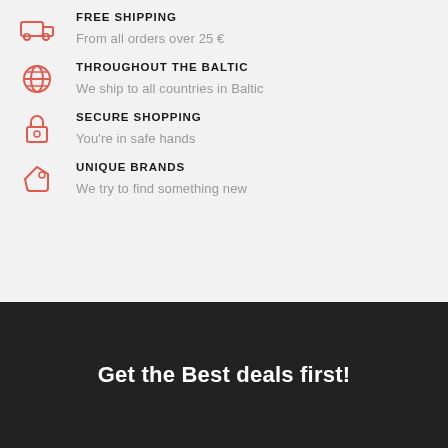FREE SHIPPING
From all orders over 25 €
THROUGHOUT THE BALTIC
We ship to all countries in Baltic
SECURE SHOPPING
You're in safe hands
UNIQUE BRANDS
We try to find something new
Get the Best deals first!